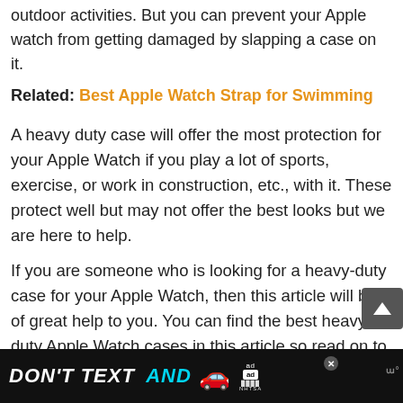outdoor activities. But you can prevent your Apple watch from getting damaged by slapping a case on it.
Related: Best Apple Watch Strap for Swimming
A heavy duty case will offer the most protection for your Apple Watch if you play a lot of sports, exercise, or work in construction, etc., with it. These protect well but may not offer the best looks but we are here to help.
If you are someone who is looking for a heavy-duty case for your Apple Watch, then this article will be of great help to you. You can find the best heavy duty Apple Watch cases in this article so read on to know more
[Figure (screenshot): Ad banner at bottom: dark background with 'DON'T TEXT AND' text with car emoji and NHTSA logo]